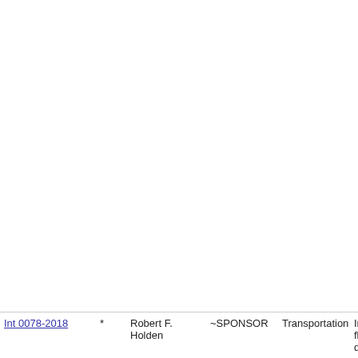| Int 0078-2018 | * | Robert F. Holden | ~SPONSOR | Transportation | Improv flow of during a |